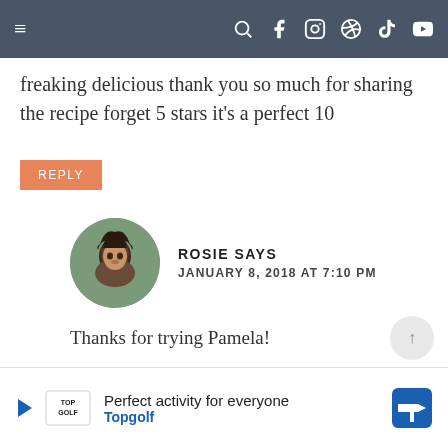Navigation bar with hamburger menu and social icons
freaking delicious thank you so much for sharing the recipe forget 5 stars it's a perfect 10
REPLY
ROSIE SAYS
JANUARY 8, 2018 AT 7:10 PM
Thanks for trying Pamela!
REPLY
Perfect activity for everyone  Topgolf